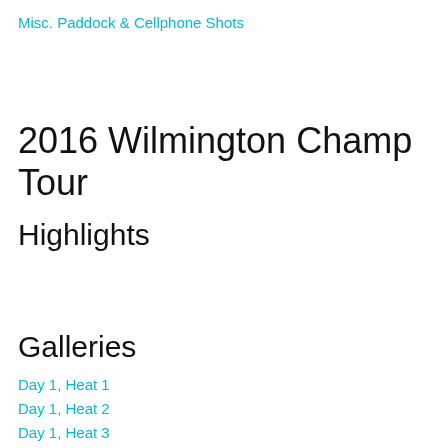Misc. Paddock & Cellphone Shots
2016 Wilmington Champ Tour
Highlights
Galleries
Day 1, Heat 1
Day 1, Heat 2
Day 1, Heat 3
Day 1, Heat 4